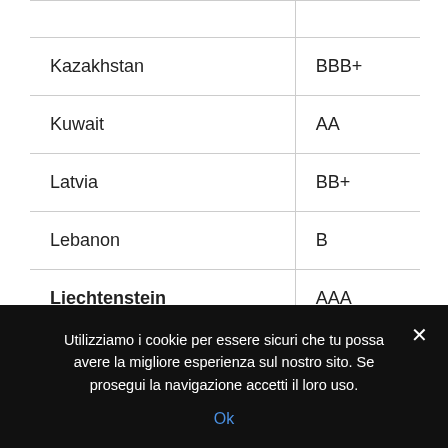| Country | Rating |
| --- | --- |
| Kazakhstan | BBB+ |
| Kuwait | AA |
| Latvia | BB+ |
| Lebanon | B |
| Liechtenstein | AAA |
| Lithuania | BBB |
| Luxembourg | AAA |
Utilizziamo i cookie per essere sicuri che tu possa avere la migliore esperienza sul nostro sito. Se prosegui la navigazione accetti il loro uso. Ok